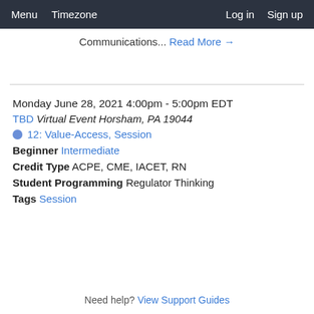Menu  Timezone  Log in  Sign up
Communications... Read More →
Monday June 28, 2021 4:00pm - 5:00pm EDT
TBD Virtual Event Horsham, PA 19044
12: Value-Access, Session
Beginner Intermediate
Credit Type ACPE, CME, IACET, RN
Student Programming Regulator Thinking
Tags Session
Need help? View Support Guides